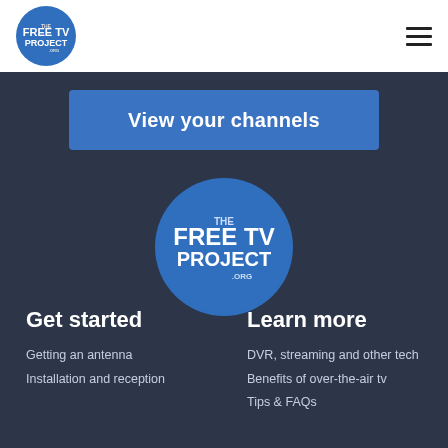[Figure (logo): The Free TV Project .org circular logo on white header bar]
[Figure (logo): Hamburger menu icon (three horizontal lines)]
View your channels
[Figure (logo): The Free TV Project .org circular logo (large, centered)]
Get started
Learn more
Getting an antenna
Installation and reception
DVR, streaming and other tech
Benefits of over-the-air tv
Tips & FAQs